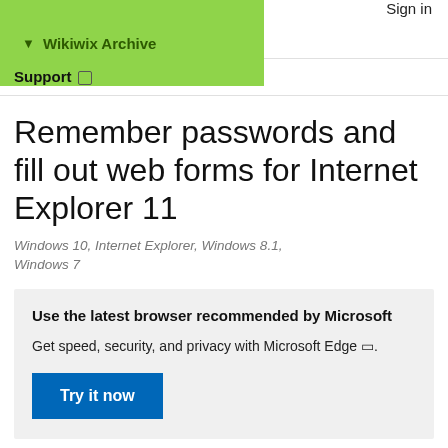Wikiwix Archive  Sign in
Support
Remember passwords and fill out web forms for Internet Explorer 11
Windows 10, Internet Explorer, Windows 8.1, Windows 7
Use the latest browser recommended by Microsoft
Get speed, security, and privacy with Microsoft Edge .
Try it now
For Windows 10 and Windows 8.1